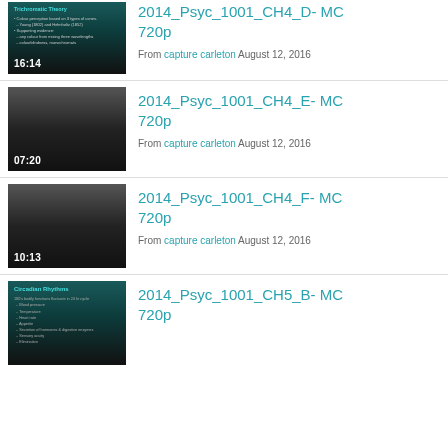[Figure (screenshot): Video thumbnail showing teal/dark slide about colour perception with text visible, duration 16:14]
2014_Psyc_1001_CH4_D- MC 720p
From capture carleton August 12, 2016
[Figure (screenshot): Video thumbnail showing grey gradient, duration 07:20]
2014_Psyc_1001_CH4_E- MC 720p
From capture carleton August 12, 2016
[Figure (screenshot): Video thumbnail showing grey gradient, duration 10:13]
2014_Psyc_1001_CH4_F- MC 720p
From capture carleton August 12, 2016
[Figure (screenshot): Video thumbnail showing teal slide about Circadian Rhythms]
2014_Psyc_1001_CH5_B- MC 720p